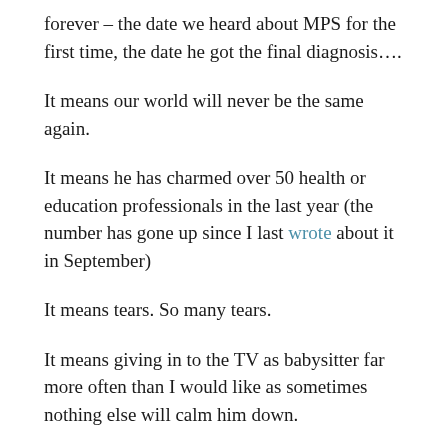forever – the date we heard about MPS for the first time, the date he got the final diagnosis….
It means our world will never be the same again.
It means he has charmed over 50 health or education professionals in the last year (the number has gone up since I last wrote about it in September)
It means tears. So many tears.
It means giving in to the TV as babysitter far more often than I would like as sometimes nothing else will calm him down.